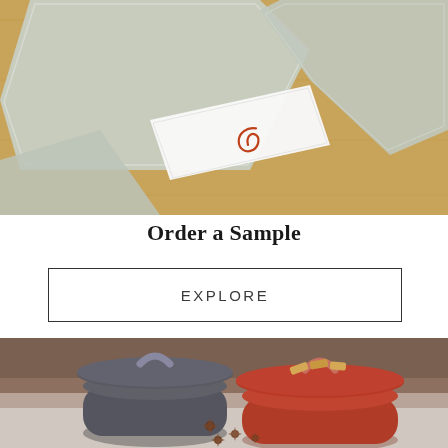[Figure (photo): Top-down flatlay photo of pale gray/green stone or ceramic tiles arranged on a warm oak wood surface, with a white card featuring a spiral logo visible in the lower center area.]
Order a Sample
EXPLORE
[Figure (photo): Product photo on warm brown/taupe background showing two ceramic lidded pots: a dark charcoal/gray matte round pot with arc handle lid on the left, and a terracotta/rust red matte round pot with arc handle lid on the right, with star anise spices scattered in front and biscotti cookies on top of the red pot.]